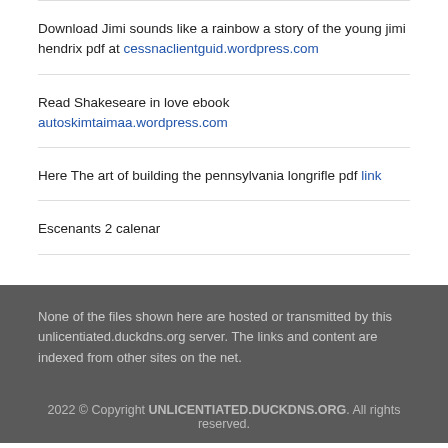Download Jimi sounds like a rainbow a story of the young jimi hendrix pdf at cessnaclientguid.wordpress.com
Read Shakeseare in love ebook autoskimtaimaa.wordpress.com
Here The art of building the pennsylvania longrifle pdf link
Escenants 2 calenar
None of the files shown here are hosted or transmitted by this unlicentiated.duckdns.org server. The links and content are indexed from other sites on the net.
2022 © Copyright UNLICENTIATED.DUCKDNS.ORG. All rights reserved.